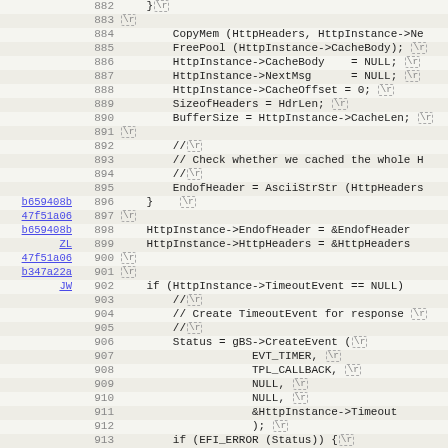[Figure (screenshot): Source code viewer showing C code lines 882-914 with blame annotations (commit hashes) on the left, line numbers in gray, and code with \r markers indicating carriage returns. Notable commits: b659408b, 47f51a06, ZL, b347a22a, JW.]